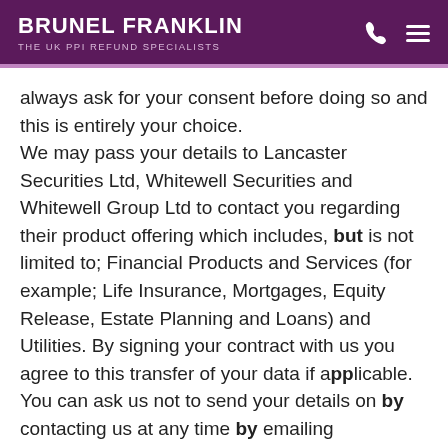BRUNEL FRANKLIN — THE UK PPI REFUND SPECIALISTS
always ask for your consent before doing so and this is entirely your choice.
We may pass your details to Lancaster Securities Ltd, Whitewell Securities and Whitewell Group Ltd to contact you regarding their product offering which includes, but is not limited to; Financial Products and Services (for example; Life Insurance, Mortgages, Equity Release, Estate Planning and Loans) and Utilities. By signing your contract with us you agree to this transfer of your data if applicable. You can ask us not to send your details on by contacting us at any time by emailing optout@brunelfranklin.com.